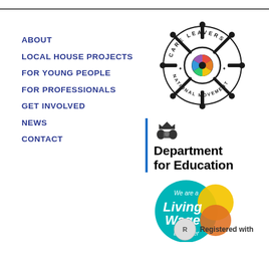ABOUT
LOCAL HOUSE PROJECTS
FOR YOUNG PEOPLE
FOR PROFESSIONALS
GET INVOLVED
NEWS
CONTACT
[Figure (logo): Care Leavers National Movement ship wheel logo with rainbow centre]
[Figure (logo): Department for Education logo with royal crest and blue vertical bar]
[Figure (logo): We are a Living Wage Employer badge - teal circle with yellow and orange overlapping circles]
[Figure (logo): Registered with logo - partial view at bottom]